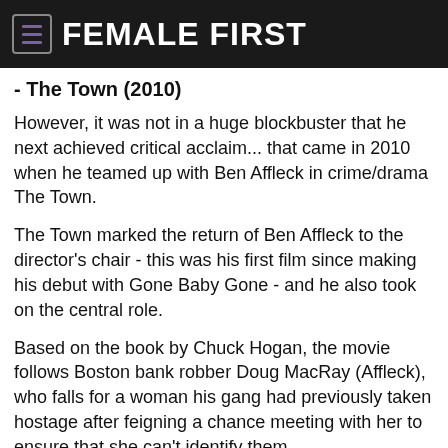FEMALE FIRST
- The Town (2010)
However, it was not in a huge blockbuster that he next achieved critical acclaim... that came in 2010 when he teamed up with Ben Affleck in crime/drama The Town.
The Town marked the return of Ben Affleck to the director's chair - this was his first film since making his debut with Gone Baby Gone - and he also took on the central role.
Based on the book by Chuck Hogan, the movie follows Boston bank robber Doug MacRay (Affleck), who falls for a woman his gang had previously taken hostage after feigning a chance meeting with her to ensure that she can't identify them.
Renner took on the supporting role of James Coughlin - the darkest and most violent character in the film and